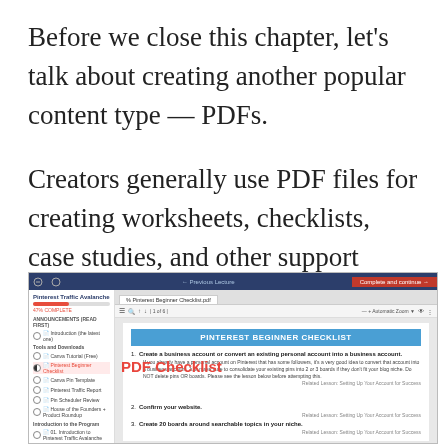Before we close this chapter, let's talk about creating another popular content type — PDFs.
Creators generally use PDF files for creating worksheets, checklists, case studies, and other support documents for their courses.
[Figure (screenshot): Screenshot of an online course platform showing a Pinterest Beginner Checklist PDF. Left sidebar shows Pinterest Traffic Avalanche course with 47% complete. Main area shows a PDF checklist with header 'PINTEREST BEGINNER CHECKLIST' and items: 1. Create a business account or convert an existing personal account into a business account. 2. Confirm your website. 3. Create 20 boards around searchable topics in your niche. Overlaid text says 'PDF Checklist' in red.]